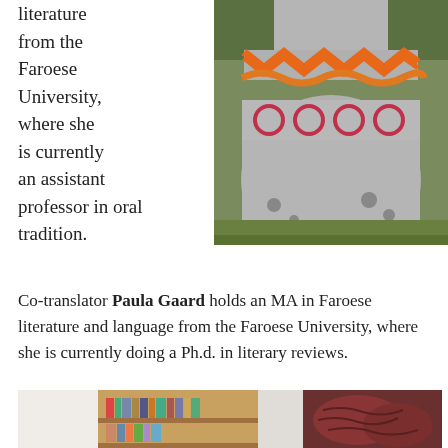literature from the Faroese University, where she is currently an assistant professor in oral tradition.
[Figure (photo): Photo of a person wearing a traditional Faroese patterned sweater with orange, red and grey colorwork design, outdoors on grass background.]
Co-translator Paula Gaard holds an MA in Faroese literature and language from the Faroese University, where she is currently doing a Ph.d. in literary reviews.
[Figure (photo): Split image showing a wooden bookshelf with books on the left side, and a dark red/brown textured object on the right side.]